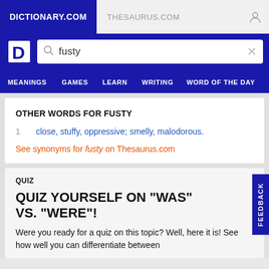DICTIONARY.COM   THESAURUS.COM
[Figure (screenshot): Dictionary.com logo (white D on blue background)]
fusty
OTHER WORDS FOR FUSTY
1   close, stuffy, oppressive; smelly, malodorous.
See synonyms for fusty on Thesaurus.com
QUIZ
QUIZ YOURSELF ON "WAS" VS. "WERE"!
Were you ready for a quiz on this topic? Well, here it is! See how well you can differentiate between